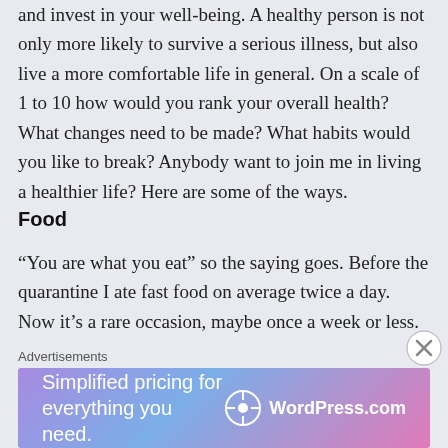and invest in your well-being. A healthy person is not only more likely to survive a serious illness, but also live a more comfortable life in general. On a scale of 1 to 10 how would you rank your overall health? What changes need to be made? What habits would you like to break? Anybody want to join me in living a healthier life? Here are some of the ways.
Food
“You are what you eat” so the saying goes. Before the quarantine I ate fast food on average twice a day. Now it’s a rare occasion, maybe once a week or less. This change has definitely helped me feel better overall, and home-cooked meals are so much tastier! Cooking
Advertisements
[Figure (other): WordPress.com advertisement banner: 'Simplified pricing for everything you need.' with WordPress.com logo on gradient purple-blue-pink background.]